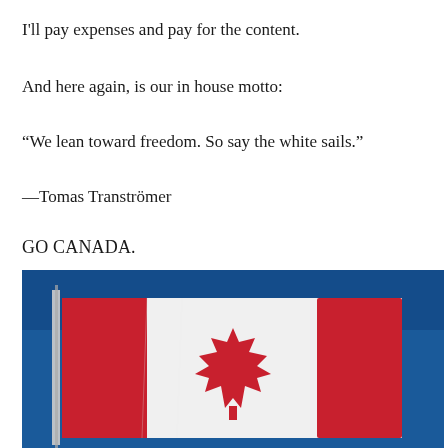I'll pay expenses and pay for the content.
And here again, is our in house motto:
“We lean toward freedom. So say the white sails.”
—Tomas Tranströmer
GO CANADA.
[Figure (photo): Photograph of a Canadian flag waving against a blue sky background. The flag shows the red and white maple leaf design clearly.]